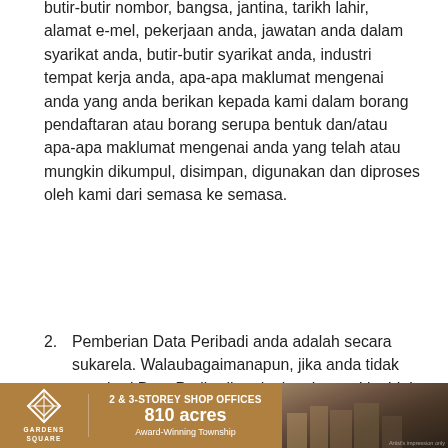butir-butir nombor, bangsa, jantina, tarikh lahir, alamat e-mel, pekerjaan anda, jawatan anda dalam syarikat anda, butir-butir syarikat anda, industri tempat kerja anda, apa-apa maklumat mengenai anda yang anda berikan kepada kami dalam borang pendaftaran atau borang serupa bentuk dan/atau apa-apa maklumat mengenai anda yang telah atau mungkin dikumpul, disimpan, digunakan dan diproses oleh kami dari semasa ke semasa.
2. Pemberian Data Peribadi anda adalah secara sukarela. Walaubagaimanapun, jika anda tidak memberi Data Peribadi anda, kami mungkin tidak dapat menyediakan perkhidmatan atau produk yang anda telah pesan.
SUMBER PEROLEHAN DATA PERIBADI ANDA
[Figure (infographic): Advertisement banner for Gardens Square featuring a diamond logo, '2 & 3-Storey Shop Offices', '810 acres', 'Award-Winning Township', and a photo of shop buildings.]